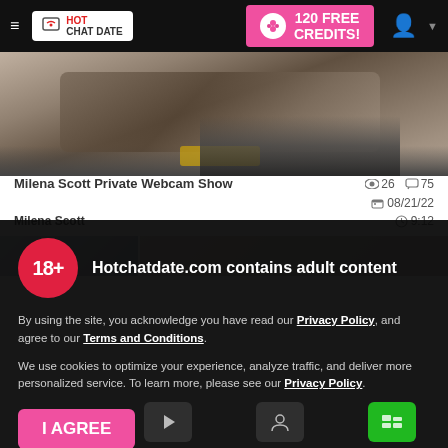Hot Chat Date navigation bar with 120 FREE CREDITS button
[Figure (photo): Partial webcam show thumbnail image showing a person in a yellow chair with black stockings]
Milena Scott Private Webcam Show   👁 26  💬 75
🎬 08/21/22
Milena Scott   🕐 9:12
[Figure (photo): Partially visible second row of video thumbnails]
18+  Hotchatdate.com contains adult content
By using the site, you acknowledge you have read our Privacy Policy, and agree to our Terms and Conditions.
We use cookies to optimize your experience, analyze traffic, and deliver more personalized service. To learn more, please see our Privacy Policy.
I AGREE